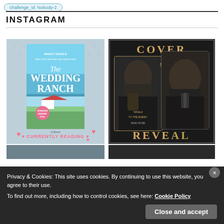challenge_id: Nobody-2
INSTAGRAM
[Figure (photo): Book photo of 'The Wedding Ranch' by Nancy Naigle held in hands on a patterned fabric background, with text overlay 'CURRENTLY READING' and pink heart emojis]
[Figure (photo): Cover reveal image for 'Willed to the Enemy' by Nikki Rose, showing a dark-themed book cover with a man in formal attire, with text overlays 'COVER' and 'REVEAL']
Privacy & Cookies: This site uses cookies. By continuing to use this website, you agree to their use.
To find out more, including how to control cookies, see here: Cookie Policy
Close and accept